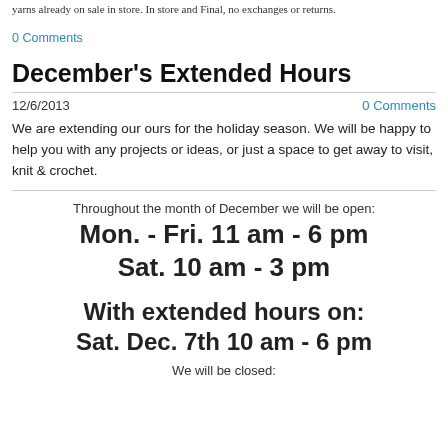yarns already on sale in store. In store and Final, no exchanges or returns.
0 Comments
December's Extended Hours
12/6/2013
0 Comments
We are extending our ours for the holiday season. We will be happy to help you with any projects or ideas, or just a space to get away to visit, knit & crochet.
Throughout the month of December we will be open:
Mon. - Fri. 11 am - 6 pm
Sat. 10 am - 3 pm
With extended hours on:
Sat. Dec. 7th 10 am - 6 pm
We will be closed: